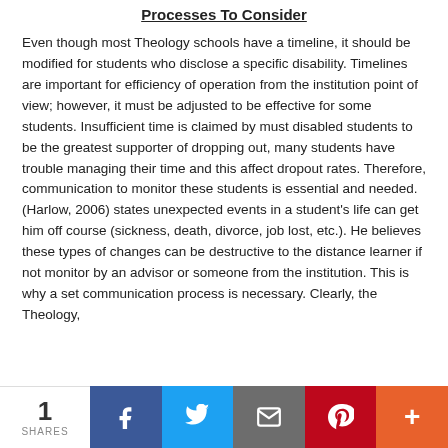Processes To Consider
Even though most Theology schools have a timeline, it should be modified for students who disclose a specific disability. Timelines are important for efficiency of operation from the institution point of view; however, it must be adjusted to be effective for some students. Insufficient time is claimed by must disabled students to be the greatest supporter of dropping out, many students have trouble managing their time and this affect dropout rates. Therefore, communication to monitor these students is essential and needed. (Harlow, 2006) states unexpected events in a student's life can get him off course (sickness, death, divorce, job lost, etc.). He believes these types of changes can be destructive to the distance learner if not monitor by an advisor or someone from the institution. This is why a set communication process is necessary. Clearly, the Theology,
1 SHARES | Facebook | Twitter | Email | Pinterest | More